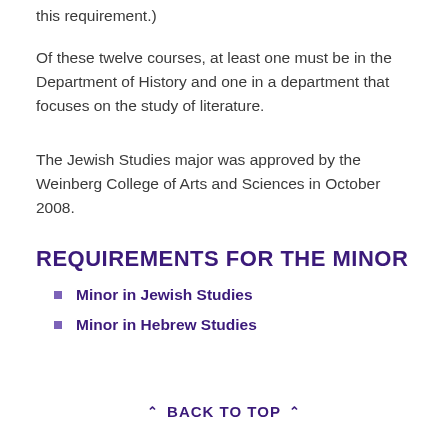this requirement.
Of these twelve courses, at least one must be in the Department of History and one in a department that focuses on the study of literature.
The Jewish Studies major was approved by the Weinberg College of Arts and Sciences in October 2008.
REQUIREMENTS FOR THE MINOR
Minor in Jewish Studies
Minor in Hebrew Studies
BACK TO TOP